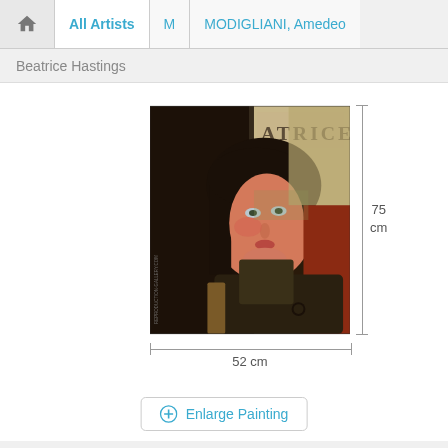Home | All Artists | M | MODIGLIANI, Amedeo
Beatrice Hastings
[Figure (photo): Painting by Modigliani showing Beatrice Hastings, a woman with dark hair seated in a chair, with 'ATRICE' written in upper right. Dimensions: 52 cm wide x 75 cm tall.]
52 cm
75 cm
Enlarge Painting